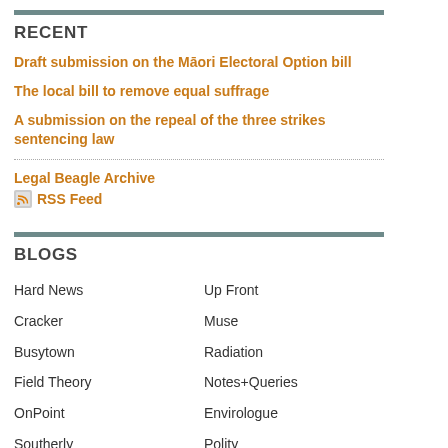RECENT
Draft submission on the Māori Electoral Option bill
The local bill to remove equal suffrage
A submission on the repeal of the three strikes sentencing law
Legal Beagle Archive
RSS Feed
BLOGS
Hard News
Up Front
Cracker
Muse
Busytown
Radiation
Field Theory
Notes+Queries
OnPoint
Envirologue
Southerly
Polity
Legal Beagle
Speaker
Capture
Feed
Access
Access Granted